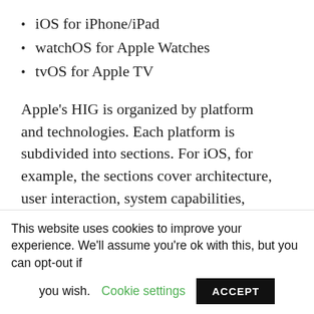iOS for iPhone/iPad
watchOS for Apple Watches
tvOS for Apple TV
Apple’s HIG is organized by platform and technologies. Each platform is subdivided into sections. For iOS, for example, the sections cover architecture, user interaction, system capabilities, icons and images, bars, views, controls, and extensions.
From the iOS section topics, it’s evident that Apple is intent on making sure that...
This website uses cookies to improve your experience. We’ll assume you’re ok with this, but you can opt-out if you wish. Cookie settings ACCEPT